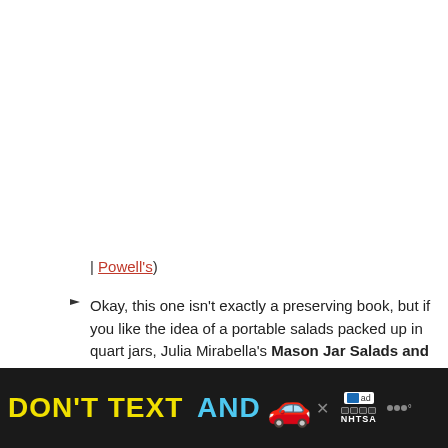| Powell’s)
Okay, this one isn’t exactly a preserving book, but if you like the idea of a portable salads packed up in quart jars, Julia Mirabella’s Mason Jar Salads and More is fun and bursting with jar goodness. (Amazon
[Figure (screenshot): Advertisement banner at bottom of page reading DON'T TEXT AND with a red car emoji, ad choice icon, NHTSA logo, and WeatherBug logo on dark background]